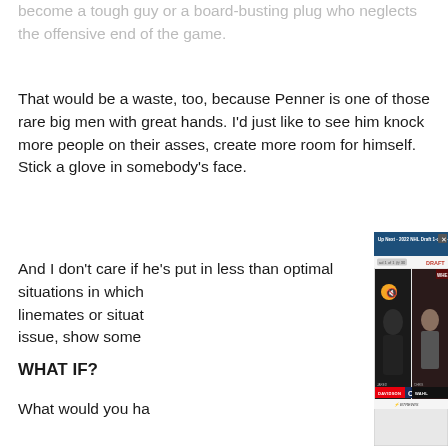become a tough guy or a board-busting plug who neglects the offensive end of the game.
That would be a waste, too, because Penner is one of those rare big men with great hands. I’d just like to see him knock more people on their asses, create more room for himself. Stick a glove in somebody’s face.
And I don’t care if he’s put in less than optimal situations in which linemates or situat issue, show some
WHAT IF?
What would you ha
[Figure (screenshot): Video ad overlay showing '2022 NHL Draft 1-on-1 - Jare...' with two people on screen: Jared Davidson and Chris Wahl, with an NHL Draft logo and The Athletic branding.]